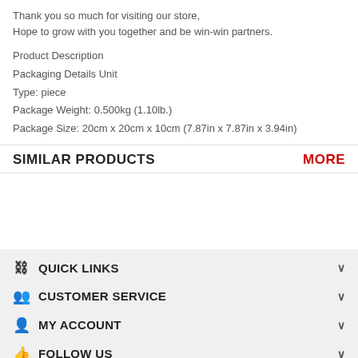Thank you so much for visiting our store,
Hope to grow with you together and be win-win partners.
Product Description
Packaging Details Unit
Type: piece
Package Weight: 0.500kg (1.10lb.)
Package Size: 20cm x 20cm x 10cm (7.87in x 7.87in x 3.94in)
SIMILAR PRODUCTS
MORE
QUICK LINKS
CUSTOMER SERVICE
MY ACCOUNT
FOLLOW US
COPYRIGHT © 2022 ADMIN HTTP://WWW.CHINA-GOODS-ONLINE.COM